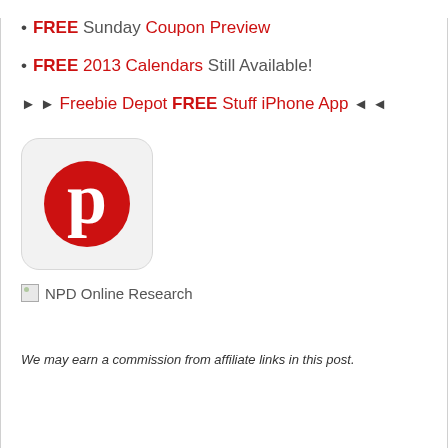• FREE Sunday Coupon Preview
• FREE 2013 Calendars Still Available!
►► Freebie Depot FREE Stuff iPhone App ◄◄
[Figure (logo): Pinterest logo — red circular 'P' icon on light gray rounded square background]
[Figure (photo): Broken image placeholder labeled 'NPD Online Research']
We may earn a commission from affiliate links in this post.